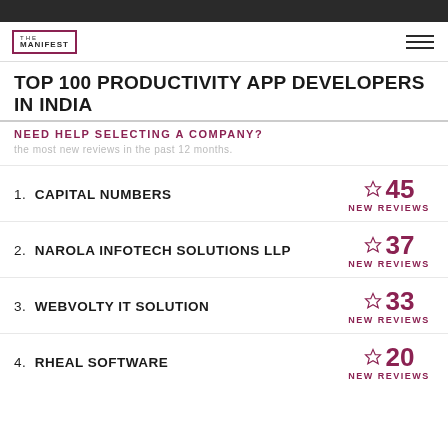THE MANIFEST
TOP 100 PRODUCTIVITY APP DEVELOPERS IN INDIA
NEED HELP SELECTING A COMPANY?
the most new reviews in the past 12 months.
1. CAPITAL NUMBERS — 45 NEW REVIEWS
2. NAROLA INFOTECH SOLUTIONS LLP — 37 NEW REVIEWS
3. WEBVOLTY IT SOLUTION — 33 NEW REVIEWS
4. RHEAL SOFTWARE — 20 NEW REVIEWS